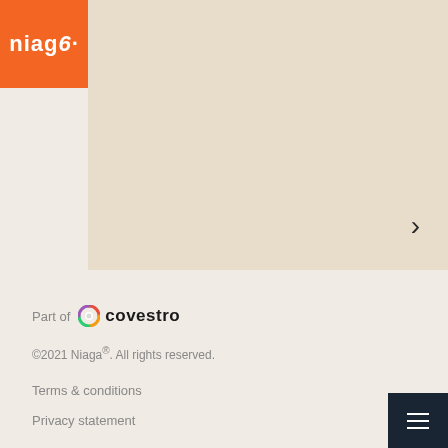[Figure (logo): Niaga logo in white text on orange background, top-left corner]
[Figure (illustration): Large cream/beige colored panel occupying the top right portion of the page, with a right-pointing chevron arrow on the right side]
Part of  covestro
©2021 Niaga®. All rights reserved.
Terms & conditions
Privacy statement
[Figure (illustration): Dark navy hamburger menu button in bottom-right corner]